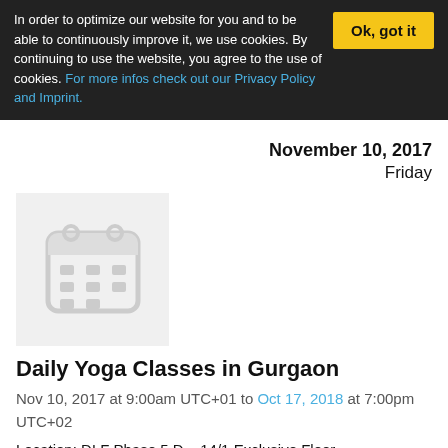In order to optimize our website for you and to be able to continuously improve it, we use cookies. By continuing to use the website, you agree to the use of cookies. For more infos check out our Privacy Policy and Imprint.
Ok, got it
November 10, 2017
Friday
[Figure (illustration): Calendar icon placeholder image on grey background]
Daily Yoga Classes in Gurgaon
Nov 10, 2017 at 9:00am UTC+01 to Oct 17, 2018 at 7:00pm UTC+02
Location: DLF Phase 5 D – 14/1 Exclusive Floor,
Description: Take an ideal step towards a healthy life with Daily Yoga Classes in Gurgaon. The modern-lifestyle can be quite